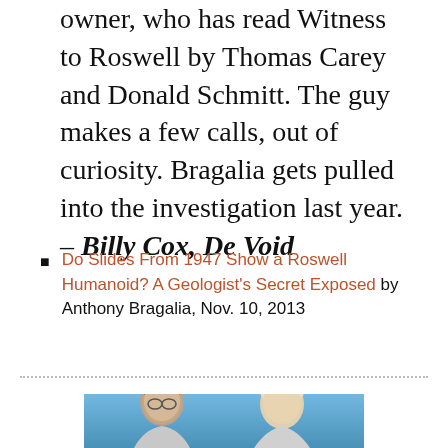owner, who has read Witness to Roswell by Thomas Carey and Donald Schmitt. The guy makes a few calls, out of curiosity. Bragalia gets pulled into the investigation last year. – Billy Cox, De Void
Do Slides From 1947 Show a Roswell Humanoid? A Geologist's Secret Exposed by Anthony Bragalia, Nov. 10, 2013
[Figure (photo): Two people photographed from shoulders up against a blue background, partially cropped at bottom of page]